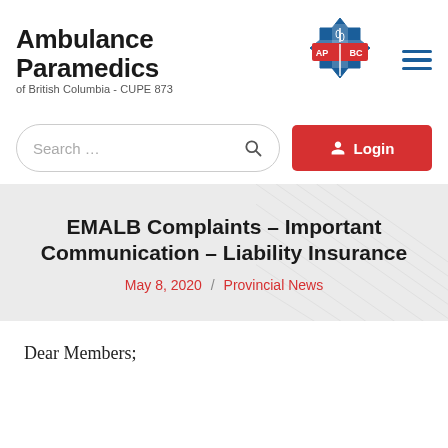[Figure (logo): Ambulance Paramedics of British Columbia CUPE 873 logo with AP|BC emblem and star of life symbol]
EMALB Complaints – Important Communication – Liability Insurance
May 8, 2020 / Provincial News
Dear Members;